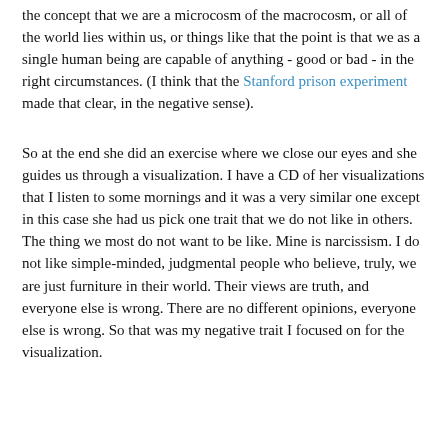the concept that we are a microcosm of the macrocosm, or all of the world lies within us, or things like that the point is that we as a single human being are capable of anything - good or bad - in the right circumstances. (I think that the Stanford prison experiment made that clear, in the negative sense).
So at the end she did an exercise where we close our eyes and she guides us through a visualization. I have a CD of her visualizations that I listen to some mornings and it was a very similar one except in this case she had us pick one trait that we do not like in others. The thing we most do not want to be like. Mine is narcissism. I do not like simple-minded, judgmental people who believe, truly, we are just furniture in their world. Their views are truth, and everyone else is wrong. There are no different opinions, everyone else is wrong. So that was my negative trait I focused on for the visualization.